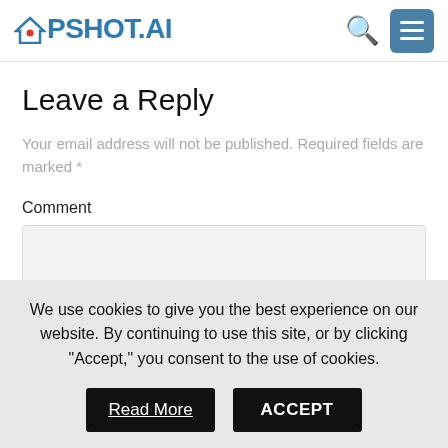UPSHOT.AI
Leave a Reply
Your email address will not be published. Required fields are marked *
Comment
We use cookies to give you the best experience on our website. By continuing to use this site, or by clicking "Accept," you consent to the use of cookies.